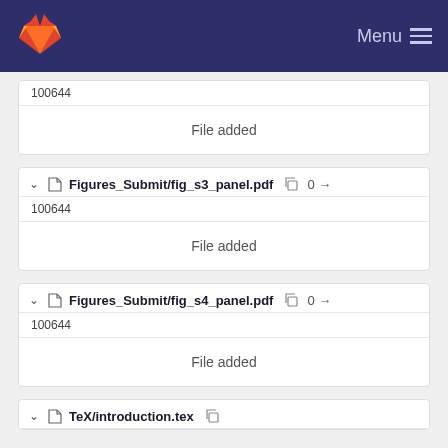GitLab — Menu
100644
File added
Figures_Submit/fig_s3_panel.pdf  0 →
100644
File added
Figures_Submit/fig_s4_panel.pdf  0 →
100644
File added
TeX/introduction.tex